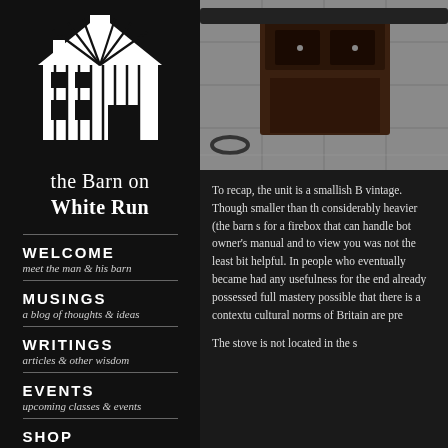[Figure (logo): White barn illustration on black background - the Barn on White Run logo]
the Barn on White Run
WELCOME
meet the man & his barn
MUSINGS
a blog of thoughts & ideas
WRITINGS
articles & other wisdom
EVENTS
upcoming classes & events
SHOP
DVDs, tools & finishing supplies
[Figure (photo): Photo of a dark wooden furniture piece (appears to be a stove or cabinet) on a gray tile floor]
To recap, the unit is a smallish B vintage. Though smaller than th considerably heavier (the barn s for a firebox that can handle bot owner's manual and to view you was not the least bit helpful. In people who eventually became had any usefulness for the end already possessed full mastery possible that there is a contextu cultural norms of Britain are pre
The stove is not located in the s